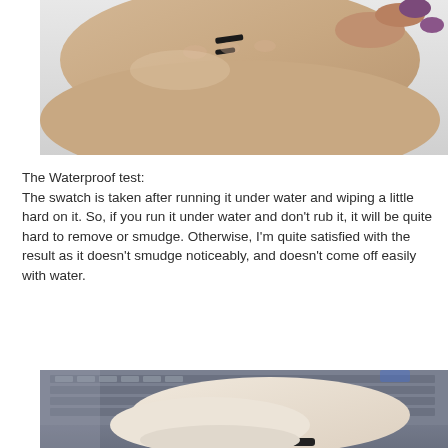[Figure (photo): Close-up photo of a hand with eyeliner swatches on the back of the hand, with purple-painted fingernails visible]
The Waterproof test:
The swatch is taken after running it under water and wiping a little hard on it. So, if you run it under water and don't rub it, it will be quite hard to remove or smudge. Otherwise, I'm quite satisfied with the result as it doesn't smudge noticeably, and doesn't come off easily with water.
[Figure (photo): Photo of a hand with an eyeliner swatch on the wrist area, resting in front of a laptop keyboard]